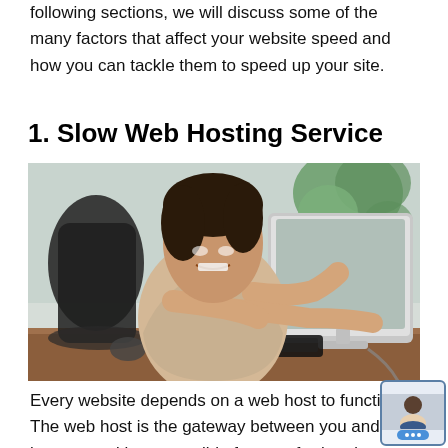following sections, we will discuss some of the many factors that affect your website speed and how you can tackle them to speed up your site.
1. Slow Web Hosting Service
[Figure (photo): A woman appearing frustrated, gripping a computer monitor from both sides, with a keyboard and mouse on a wooden desk, and a plant in the background.]
Every website depends on a web host to function. The web host is the gateway between you and the internet and is responsible for transferring data to